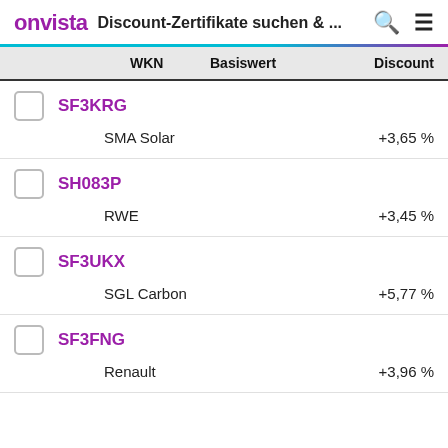onvista  Discount-Zertifikate suchen & ...
| WKN | Basiswert | Discount |
| --- | --- | --- |
| SF3KRG | SMA Solar | +3,65 % |
| SH083P | RWE | +3,45 % |
| SF3UKX | SGL Carbon | +5,77 % |
| SF3FNG | Renault | +3,96 % |